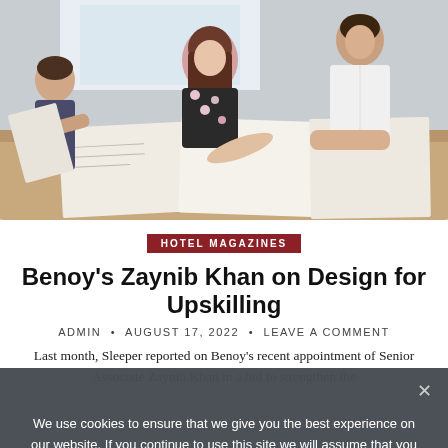[Figure (photo): People gathered around a table reviewing design plans and documents; a woman in a floral top is pointing at papers on the table, another person leans over from the right.]
HOTEL MAGAZINES
Benoy's Zaynib Khan on Design for Upskilling
ADMIN  •  AUGUST 17, 2022  •  LEAVE A COMMENT
Last month, Sleeper reported on Benoy's recent appointment of Senior Associate Zaynib Khan in a bid to strengthen the
We use cookies to ensure that we give you the best experience on our website. If you continue to use this site we will assume that you are happy with it.